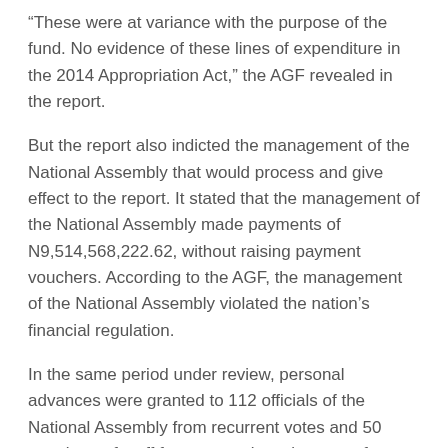“These were at variance with the purpose of the fund. No evidence of these lines of expenditure in the 2014 Appropriation Act,” the AGF revealed in the report.
But the report also indicted the management of the National Assembly that would process and give effect to the report. It stated that the management of the National Assembly made payments of N9,514,568,222.62, without raising payment vouchers. According to the AGF, the management of the National Assembly violated the nation’s financial regulation.
In the same period under review, personal advances were granted to 112 officials of the National Assembly from recurrent votes and 50 members of staff from general service votes from July to December, 2014 for various purposes, all amounting to N1,162,009,305.00.